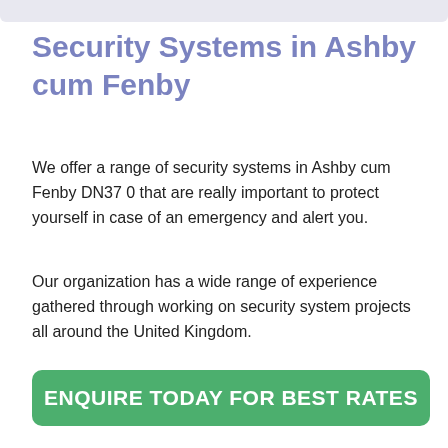Security Systems in Ashby cum Fenby
We offer a range of security systems in Ashby cum Fenby DN37 0 that are really important to protect yourself in case of an emergency and alert you.
Our organization has a wide range of experience gathered through working on security system projects all around the United Kingdom.
[Figure (other): Green call-to-action button with white bold text reading ENQUIRE TODAY FOR BEST RATES]
The most common places which we install these are at homes, schools and workspaces.
This is because many people at the facilities we have mentioned and provided a secure environment are necessary.
Preventing access is a great way to start. This can be done by